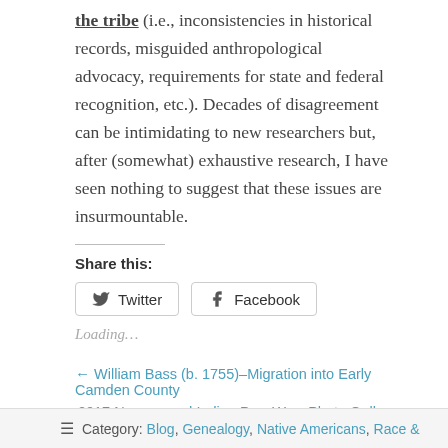the tribe (i.e., inconsistencies in historical records, misguided anthropological advocacy, requirements for state and federal recognition, etc.). Decades of disagreement can be intimidating to new researchers but, after (somewhat) exhaustive research, I have seen nothing to suggest that these issues are insurmountable.
Share this:
[Figure (other): Twitter and Facebook share buttons]
Loading…
← William Bass (b. 1755)–Migration into Early Camden County
2017 Nansemond Indian Pow Wow Photo Gallery →
≡ Category: Blog, Genealogy, Native Americans, Race &